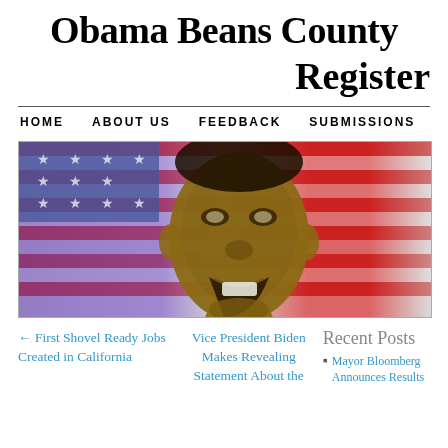Obama Beans County Register
HOME   ABOUT US   FEEDBACK   SUBMISSIONS
[Figure (photo): Close-up photo of Barack Obama speaking in front of an American flag]
← First Shovel Ready Jobs Created in California
Vice President Biden Makes Revealing Statement About the
Recent Posts
Mayor Bloomberg Announces Results